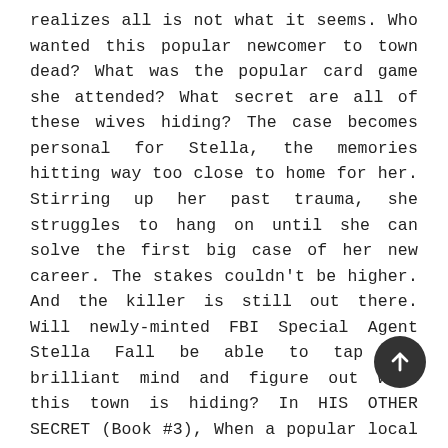realizes all is not what it seems. Who wanted this popular newcomer to town dead? What was the popular card game she attended? What secret are all of these wives hiding? The case becomes personal for Stella, the memories hitting way too close to home for her. Stirring up her past trauma, she struggles to hang on until she can solve the first big case of her new career. The stakes couldn't be higher. And the killer is still out there. Will newly-minted FBI Special Agent Stella Fall be able to tap her brilliant mind and figure out what this town is hiding? In HIS OTHER SECRET (Book #3), When a popular local fitness instructor is found murdered in a wealthy suburb, FBI Special Agent Stella Fall is dispatched to an ultra-exclusive. Connecticut coastal town. She soon discovers the town is rife with secrets, and pulls back the veil on a circle of cheating wives who had turned their cycling class into a cult. In this insular, exclusive yacht club community, no one is talking; everything seems